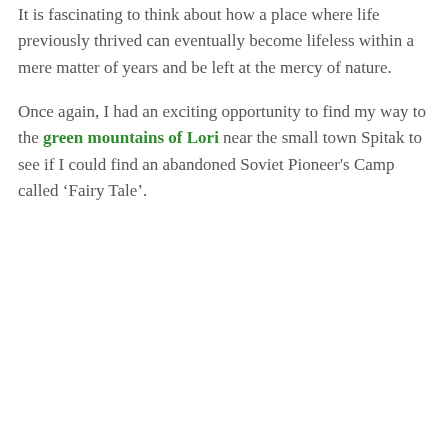It is fascinating to think about how a place where life previously thrived can eventually become lifeless within a mere matter of years and be left at the mercy of nature.
Once again, I had an exciting opportunity to find my way to the green mountains of Lori near the small town Spitak to see if I could find an abandoned Soviet Pioneer's Camp called ‘Fairy Tale’.